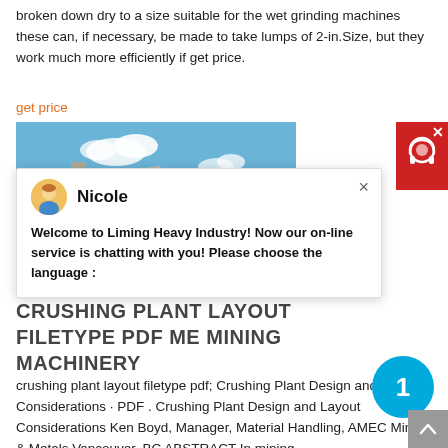broken down dry to a size suitable for the wet grinding machines these can, if necessary, be made to take lumps of 2-in.Size, but they work much more efficiently if get price.
get price
[Figure (photo): Industrial crushing plant machinery with blue sky background]
Nicole
Welcome to Liming Heavy Industry! Now our on-line service is chatting with you! Please choose the language :
CRUSHING PLANT LAYOUT FILETYPE PDF ME MINING MACHINERY
crushing plant layout filetype pdf; Crushing Plant Design and Layout Considerations · PDF . Crushing Plant Design and Layout Considerations Ken Boyd, Manager, Material Handling, AMEC Mining & Metals,Vancouver, BC ABSTRACT In mining